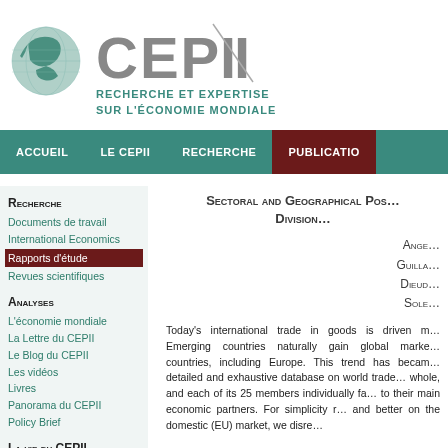[Figure (logo): CEPII logo with globe and text 'RECHERCHE ET EXPERTISE SUR L'ÉCONOMIE MONDIALE']
ACCUEIL | LE CEPII | RECHERCHE | PUBLICATIONS
RECHERCHE
Documents de travail
International Economics
Rapports d'étude
Revues scientifiques
ANALYSES
L'économie mondiale
La Lettre du CEPII
Le Blog du CEPII
Les vidéos
Livres
Panorama du CEPII
Policy Brief
LA VIE DU CEPII
Rapport d'activité
Rapport d'évaluation
Sectoral and Geographical Pos… Division…
Ange… Guilla… Dieud… Sole…
Today's international trade in goods is driven m… Emerging countries naturally gain global marke… countries, including Europe. This trend has becam… detailed and exhaustive database on world trade… whole, and each of its 25 members individually fa… to their main economic partners. For simplicity r… and better on the domestic (EU) market, we disre…